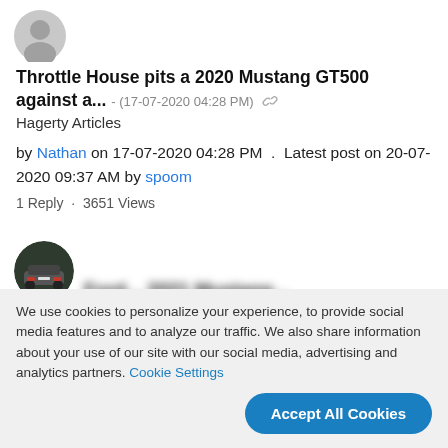[Figure (photo): Round avatar icon showing a grey silhouette of a person, top left]
Throttle House pits a 2020 Mustang GT500 against a... - (17-07-2020 04:28 PM)
Hagerty Articles
by Nathan on 17-07-2020 04:28 PM . Latest post on 20-07-2020 09:37 AM by spoom
1 Reply · 3651 Views
[Figure (photo): Round avatar showing rear of a dark car, second post area]
Ford... (blurred text about 2021 Mustang)
We use cookies to personalize your experience, to provide social media features and to analyze our traffic. We also share information about your use of our site with our social media, advertising and analytics partners. Cookie Settings
Accept All Cookies